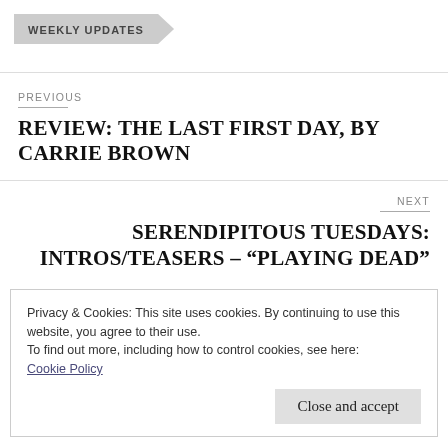WEEKLY UPDATES
PREVIOUS
REVIEW: THE LAST FIRST DAY, BY CARRIE BROWN
NEXT
SERENDIPITOUS TUESDAYS: INTROS/TEASERS – “PLAYING DEAD”
Privacy & Cookies: This site uses cookies. By continuing to use this website, you agree to their use.
To find out more, including how to control cookies, see here:
Cookie Policy
Close and accept